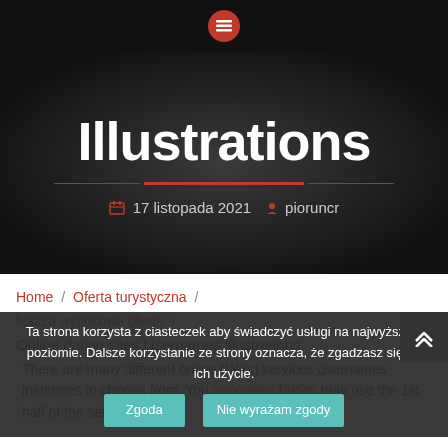[Figure (logo): Red circle menu icon on black top bar]
Illustrations
17 listopada 2021   pioruncr
Home / Oferta turystyczna / Nasza wyjątkowa oferta /
Online dating sites Usernames Illustrations
Ta strona korzysta z ciasteczek aby świadczyć usługi na najwyższym poziomie. Dalsze korzystanie ze strony oznacza, że zgadzasz się na ich użycie.
There are many different online dating services usernames instances to choose from. You hungarian brides may use the 1st half of the seluk-beluk or